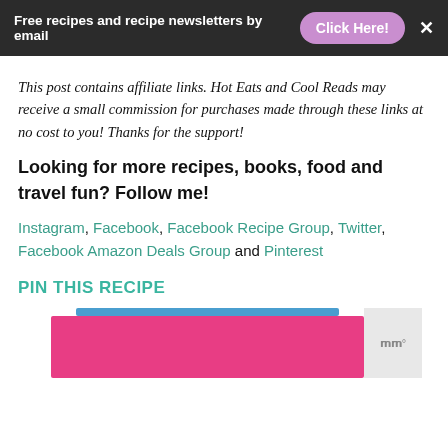Free recipes and recipe newsletters by email  Click Here!  X
This post contains affiliate links. Hot Eats and Cool Reads may receive a small commission for purchases made through these links at no cost to you! Thanks for the support!
Looking for more recipes, books, food and travel fun? Follow me!
Instagram, Facebook, Facebook Recipe Group, Twitter, Facebook Amazon Deals Group and Pinterest
PIN THIS RECIPE
[Figure (photo): Partial view of a recipe pin image with pink background and blue/grey elements at top right]